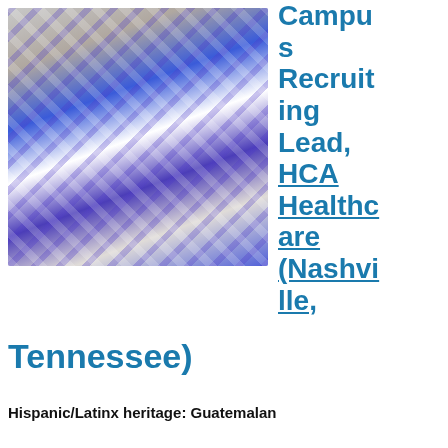[Figure (photo): Professional headshot of a smiling woman with long brown hair, wearing a blue and white patterned dress, standing against a white brick background.]
Campus Recruiting Lead, HCA Healthcare (Nashville, Tennessee)
Hispanic/Latinx heritage: Guatemalan